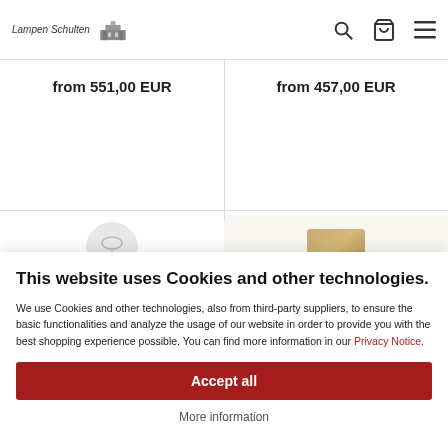Lampen Schulten [logo with building illustration] — navigation header with search, basket, and menu icons
from 551,00 EUR
from 457,00 EUR
This website uses Cookies and other technologies.
We use Cookies and other technologies, also from third-party suppliers, to ensure the basic functionalities and analyze the usage of our website in order to provide you with the best shopping experience possible. You can find more information in our Privacy Notice.
Accept all
More information